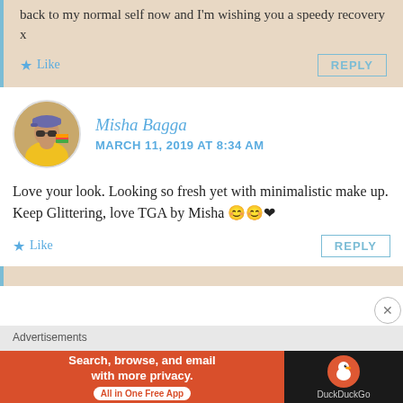back to my normal self now and I'm wishing you a speedy recovery x
Like   REPLY
Misha Bagga
MARCH 11, 2019 AT 8:34 AM
[Figure (photo): Avatar photo of Misha Bagga, a woman wearing sunglasses and a cap, in a yellow outfit]
Love your look. Looking so fresh yet with minimalistic make up. Keep Glittering, love TGA by Misha 😊😊❤
Like   REPLY
[Figure (screenshot): DuckDuckGo advertisement banner: Search, browse, and email with more privacy. All in One Free App]
Advertisements